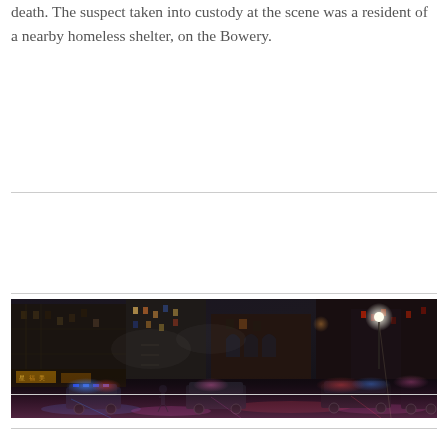death. The suspect taken into custody at the scene was a resident of a nearby homeless shelter, on the Bowery.
[Figure (photo): Night scene of an urban street with tall dark buildings, police vehicles with blue and red lights, emergency responders, and wet reflective pavement. Chinese restaurant signage visible on the left. Scene appears to be in New York City's Chinatown/Bowery area.]